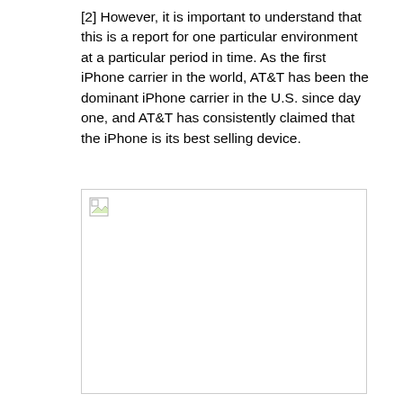[2] However, it is important to understand that this is a report for one particular environment at a particular period in time. As the first iPhone carrier in the world, AT&T has been the dominant iPhone carrier in the U.S. since day one, and AT&T has consistently claimed that the iPhone is its best selling device.
[Figure (photo): A broken/missing image placeholder with a small broken image icon in the top-left corner, shown as a white rectangle with a light grey border.]